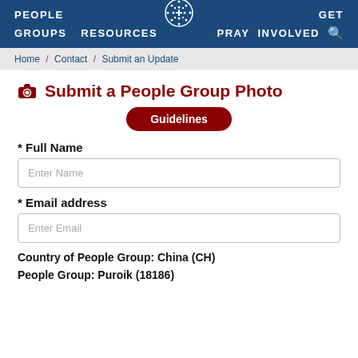PEOPLE  GROUPS  RESOURCES  GET  PRAY  INVOLVED
Home / Contact / Submit an Update
Submit a People Group Photo
Guidelines
* Full Name
Enter Name
* Email address
Enter Email
Country of People Group:  China (CH)
People Group:  Puroik (18186)